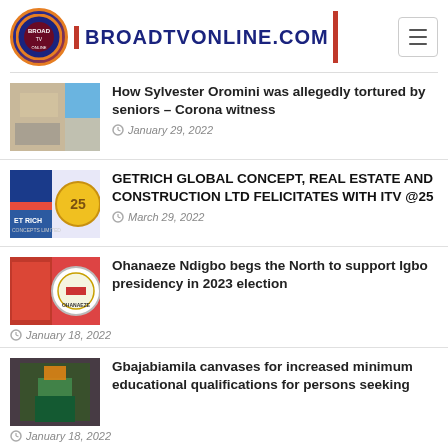BROADTVONLINE.COM
How Sylvester Oromini was allegedly tortured by seniors – Corona witness — January 29, 2022
GETRICH GLOBAL CONCEPT, REAL ESTATE AND CONSTRUCTION LTD FELICITATES WITH ITV @25 — March 29, 2022
Ohanaeze Ndigbo begs the North to support Igbo presidency in 2023 election — January 18, 2022
Gbajabiamila canvases for increased minimum educational qualifications for persons seeking — January 18, 2022